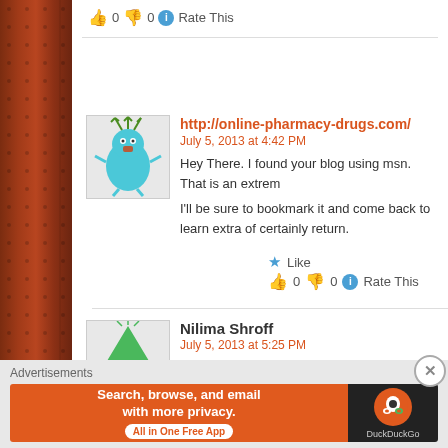👍 0 👎 0 ℹ Rate This
[Figure (illustration): Blue cartoon character avatar with antler-like green branches on head]
http://online-pharmacy-drugs.com/
July 5, 2013 at 4:42 PM
Hey There. I found your blog using msn. That is an extrem
I'll be sure to bookmark it and come back to learn extra of certainly return.
★ Like
👍 0 👎 0 ℹ Rate This
[Figure (illustration): Green arrow-shaped cartoon character avatar]
Nilima Shroff
July 5, 2013 at 5:25 PM
Subscribe
★ Like
Advertisements
[Figure (screenshot): DuckDuckGo advertisement banner: Search, browse, and email with more privacy. All in One Free App]